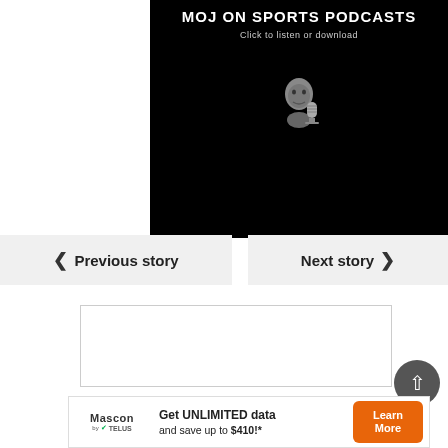[Figure (screenshot): Black background podcast banner showing MOJ ON SPORTS PODCASTS with a cartoon avatar holding a microphone]
MOJ ON SPORTS PODCASTS
Click to listen or download
< Previous story
Next story >
[Figure (other): White rectangular content box with border]
[Figure (other): Dark circular back-to-top button with upward arrow]
[Figure (other): Mascon by TELUS advertisement banner: Get UNLIMITED data and save up to $410!* with Learn More button]